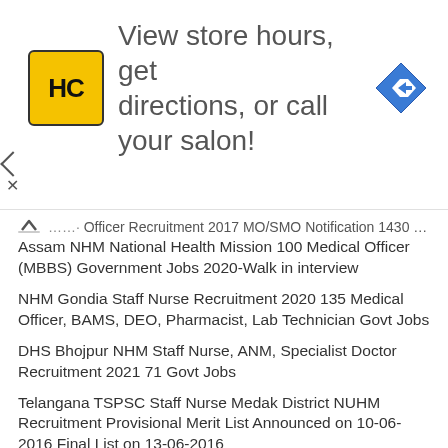[Figure (infographic): Advertisement banner with HC logo (yellow square with HC text) and navigation arrow icon. Text reads: View store hours, get directions, or call your salon!]
...Officer Recruitment 2017 MO/SMO Notification 1430 Govt Jobs Online
Assam NHM National Health Mission 100 Medical Officer (MBBS) Government Jobs 2020-Walk in interview
NHM Gondia Staff Nurse Recruitment 2020 135 Medical Officer, BAMS, DEO, Pharmacist, Lab Technician Govt Jobs
DHS Bhojpur NHM Staff Nurse, ANM, Specialist Doctor Recruitment 2021 71 Govt Jobs
Telangana TSPSC Staff Nurse Medak District NUHM Recruitment Provisional Merit List Announced on 10-06-2016 Final List on 13-06-2016